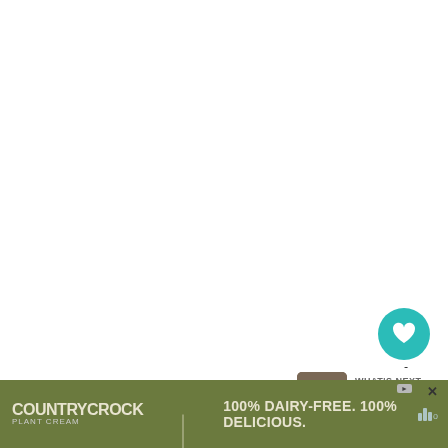[Figure (screenshot): White blank content area (webpage content above the fold)]
[Figure (infographic): Teal heart/like button showing count of 1 and a share button below it]
[Figure (infographic): What's Next panel showing thumbnail of Baked Melitzanes dish with label 'WHAT'S NEXT →' and text 'Baked Melitzanes...']
This site uses Akismet to reduce spam. Learn how
[Figure (screenshot): Country Crock Plant Cream advertisement banner: '100% DAIRY-FREE. 100% DELICIOUS.' on olive/army green background]